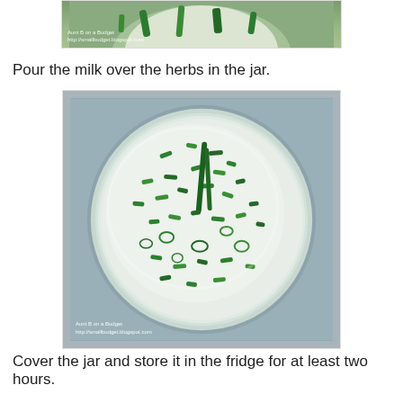[Figure (photo): Top portion of a photo showing green herbs in a jar, partially visible at top of page, with watermark 'Aunt B on a Budget http://smallbudget.blogspot.com']
Pour the milk over the herbs in the jar.
[Figure (photo): Top-down view of a glass jar containing chopped green chives/herbs floating in white milk, with watermark 'Aunt B on a Budget http://smallbudget.blogspot.com']
Cover the jar and store it in the fridge for at least two hours.